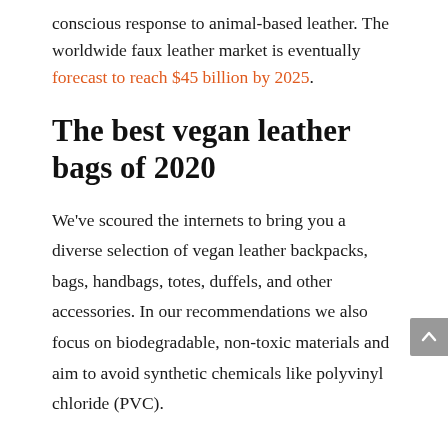conscious response to animal-based leather. The worldwide faux leather market is eventually forecast to reach $45 billion by 2025.
The best vegan leather bags of 2020
We've scoured the internets to bring you a diverse selection of vegan leather backpacks, bags, handbags, totes, duffels, and other accessories. In our recommendations we also focus on biodegradable, non-toxic materials and aim to avoid synthetic chemicals like polyvinyl chloride (PVC).
Polyvinyl chloride, or PVC, was the first widely-used leather alternative. However, Greenpeace describes